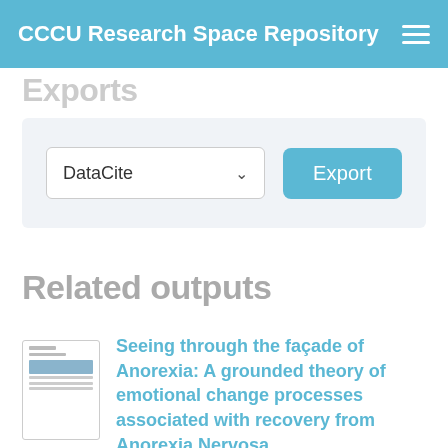CCCU Research Space Repository
Exports
[Figure (screenshot): Export panel with DataCite dropdown selector and Export button]
Related outputs
[Figure (thumbnail): Thumbnail image of a document]
Seeing through the façade of Anorexia: A grounded theory of emotional change processes associated with recovery from Anorexia Nervosa